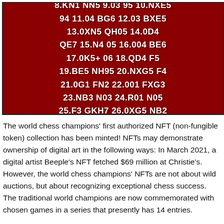[Figure (illustration): Dark red background with bold white chess move notation text: QXC6 6.0-0 0-0 7.N3 R98 8.KN1 NN5 9.03 95 10.NXE5 94 11.04 BG6 12.03 BXE5 13.0XN5 QH05 14.0D4 QE7 15.N4 05 16.004 BE6 17.0K5+ 06 18.QD4 F5 19.BE5 NH95 20.NXG5 F4 21.0G1 FN2 22.001 FXG3 23.NB3 N03 24.R01 N05 25.F3 GKH7 26.0XG5 NB2 27.RG1 G2+ 0-1]
The world chess champions' first authorized NFT (non-fungible token) collection has been minted! NFTs may demonstrate ownership of digital art in the following ways: In March 2021, a digital artist Beeple's NFT fetched $69 million at Christie's. However, the world chess champions' NFTs are not about wild auctions, but about recognizing exceptional chess success. The traditional world champions are now commemorated with chosen games in a series that presently has 14 entries.